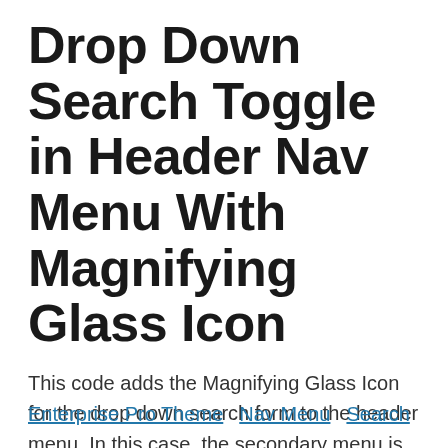Drop Down Search Toggle in Header Nav Menu With Magnifying Glass Icon
This code adds the Magnifying Glass Icon for the drop down search form to the header menu. In this case, the secondary menu is
Enterprise Pro Theme
Nav Menu
Search